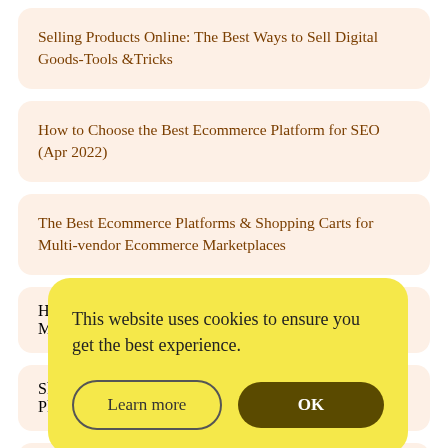Selling Products Online: The Best Ways to Sell Digital Goods-Tools &Tricks
How to Choose the Best Ecommerce Platform for SEO (Apr 2022)
The Best Ecommerce Platforms & Shopping Carts for Multi-vendor Ecommerce Marketplaces
How … Min…
Sho… … … ce Pla…
[Figure (screenshot): Cookie consent popup with yellow background saying 'This website uses cookies to ensure you get the best experience.' with 'Learn more' and 'OK' buttons]
Wix vs Shopify (Apr 2022): Which is the Zoolto Best…